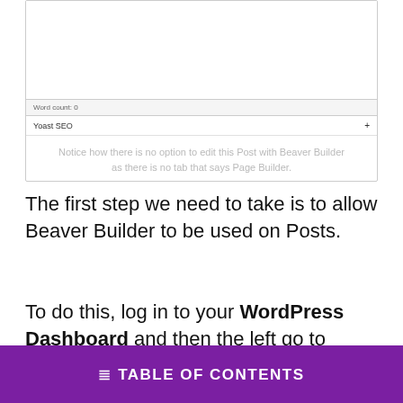[Figure (screenshot): WordPress post editor screenshot showing Word count: 0 bar and Yoast SEO panel]
Notice how there is no option to edit this Post with Beaver Builder as there is no tab that says Page Builder.
The first step we need to take is to allow Beaver Builder to be used on Posts.
To do this, log in to your WordPress Dashboard and then the left go to Settings > Page Builder.
≔ TABLE OF CONTENTS